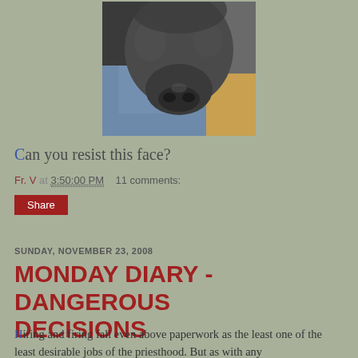[Figure (photo): Close-up photograph of a black dog's nose and face, with dark fur, resting on what appears to be a person's lap in jeans, on a yellow/wooden surface. Background shows a dark jacket.]
Can you resist this face?
Fr. V at 3:50:00 PM    11 comments:
Share
SUNDAY, NOVEMBER 23, 2008
MONDAY DIARY - DANGEROUS DECISIONS
Hiring and firing fall even above paperwork as the least one of the least desirable jobs of the priesthood. But as with any